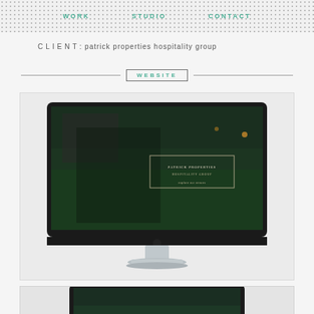WORK   STUDIO   CONTACT
CLIENT: patrick properties hospitality group
WEBSITE
[Figure (screenshot): iMac desktop computer displaying a website for Patrick Properties Hospitality Group, showing a wedding couple embracing outdoors in front of a historic building with lush greenery, with a centered text overlay box on the screen]
[Figure (screenshot): Tablet device (iPad) partially visible, showing the same website in tablet view]